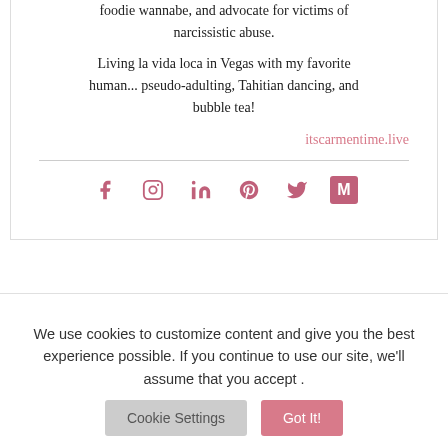foodie wannabe, and advocate for victims of narcissistic abuse.
Living la vida loca in Vegas with my favorite human... pseudo-adulting, Tahitian dancing, and bubble tea!
itscarmentime.live
[Figure (other): Social media icons: Facebook, Instagram, LinkedIn, Pinterest, Twitter, Medium]
Category: Diary, Relationships
Tag: breakup therapy
Why I Deleted My Biggest
We use cookies to customize content and give you the best experience possible. If you continue to use our site, we'll assume that you accept .